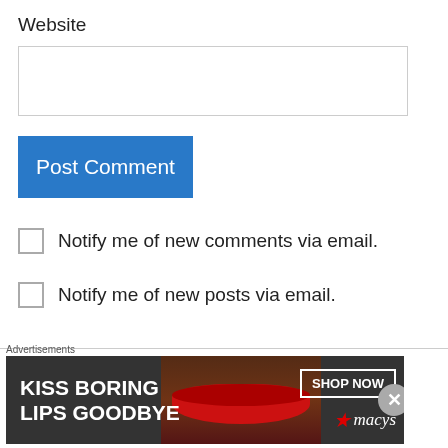Website
Post Comment
Notify me of new comments via email.
Notify me of new posts via email.
Ellen on July 26, 2020 at 10:22 pm
I saw this in today's CNN Opinion Provoke/Persuade newsletter! Excellent. if there
[Figure (other): Macy's advertisement banner: KISS BORING LIPS GOODBYE with SHOP NOW button and Macy's star logo]